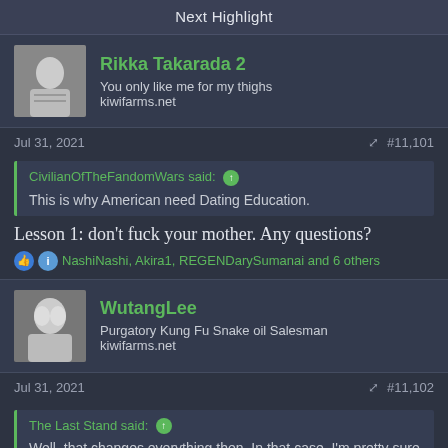Next Highlight
Rikka Takarada 2
You only like me for my thighs
kiwifarms.net
Jul 31, 2021  #11,101
CivilianOfTheFandomWars said: ↑
This is why American need Dating Education.
Lesson 1: don't fuck your mother. Any questions?
NashiNashi, Akira1, REGENDarySumanai and 6 others
WutangLee
Purgatory Kung Fu Snake oil Salesman
kiwifarms.net
Jul 31, 2021  #11,102
The Last Stand said: ↑
Well, that changes everything then. In that case, I'm pretty sure